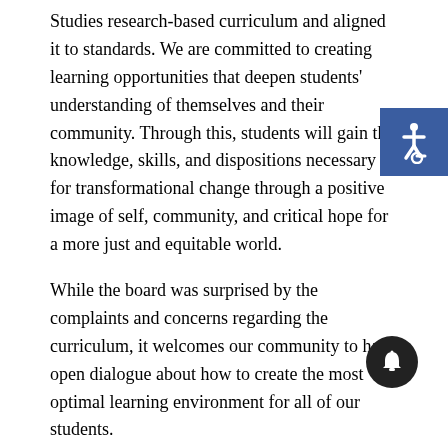Studies research-based curriculum and aligned it to standards. We are committed to creating learning opportunities that deepen students' understanding of themselves and their community. Through this, students will gain the knowledge, skills, and dispositions necessary for transformational change through a positive image of self, community, and critical hope for a more just and equitable world.
While the board was surprised by the complaints and concerns regarding the curriculum, it welcomes our community to have open dialogue about how to create the most optimal learning environment for all of our students.
--
Marcos Cabrera
SUHSD Director of Communications"
PREVIOUS STORY: Multiple parents spoke out Tuesday night against the Salinas Union High School District's board agenda item concerning the ethnic studies curriculum being planned
[Figure (illustration): Blue square accessibility icon with wheelchair symbol in white]
[Figure (illustration): Dark circular notification/bell icon]